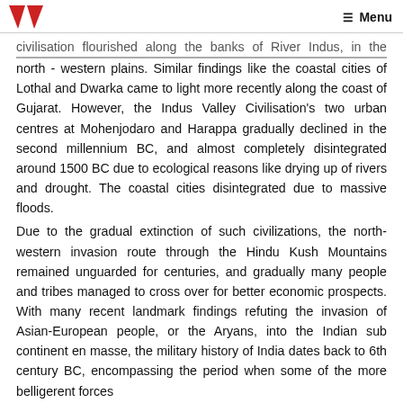☰ Menu
civilisation flourished along the banks of River Indus, in the alluvial north - western plains. Similar findings like the coastal cities of Lothal and Dwarka came to light more recently along the coast of Gujarat. However, the Indus Valley Civilisation's two urban centres at Mohenjodaro and Harappa gradually declined in the second millennium BC, and almost completely disintegrated around 1500 BC due to ecological reasons like drying up of rivers and drought. The coastal cities disintegrated due to massive floods.
Due to the gradual extinction of such civilizations, the north-western invasion route through the Hindu Kush Mountains remained unguarded for centuries, and gradually many people and tribes managed to cross over for better economic prospects. With many recent landmark findings refuting the invasion of Asian-European people, or the Aryans, into the Indian sub continent en masse, the military history of India dates back to 6th century BC, encompassing the period when some of the more belligerent forces